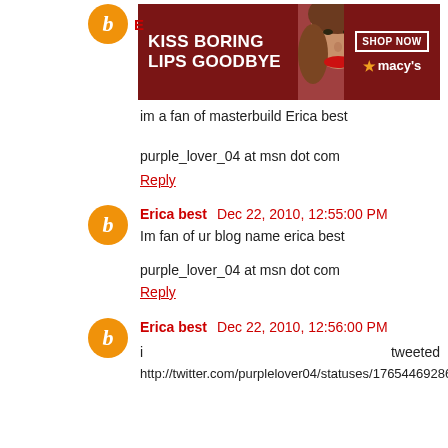[Figure (other): Macy's advertisement banner: 'KISS BORING LIPS GOODBYE' with woman wearing red lipstick, SHOP NOW button, and Macy's star logo]
im a fan of masterbuild Erica best
purple_lover_04 at msn dot com
Reply
Erica best  Dec 22, 2010, 12:55:00 PM
Im fan of ur blog name erica best
purple_lover_04 at msn dot com
Reply
Erica best  Dec 22, 2010, 12:56:00 PM
i                                        tweeted
http://twitter.com/purplelover04/statuses/17654469286170624